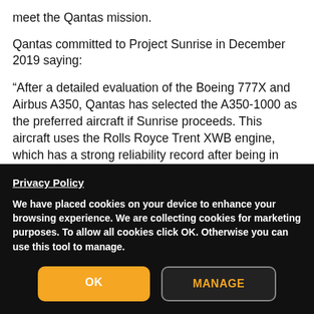meet the Qantas mission.
Qantas committed to Project Sunrise in December 2019 saying:
“After a detailed evaluation of the Boeing 777X and Airbus A350, Qantas has selected the A350-1000 as the preferred aircraft if Sunrise proceeds. This aircraft uses the Rolls Royce Trent XWB engine, which has a strong reliability record after being in service with airlines for more than two years. Airbus will add an additional fuel tank and slightly increase the maximum takeoff
Privacy Policy
We have placed cookies on your device to enhance your browsing experience. We are collecting cookies for marketing purposes. To allow all cookies click OK. Otherwise you can use this tool to manage.